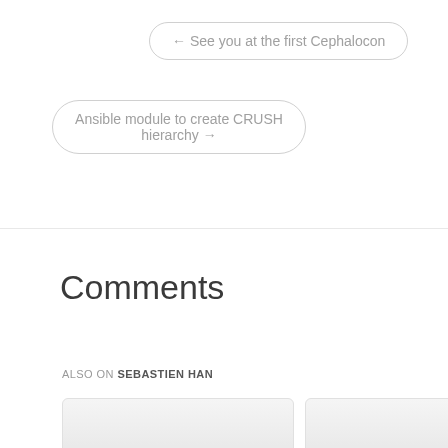← See you at the first Cephalocon
Ansible module to create CRUSH hierarchy →
Comments
ALSO ON SEBASTIEN HAN
[Figure (other): Two card thumbnails at bottom of page]
[Figure (other): Right card thumbnail at bottom of page]